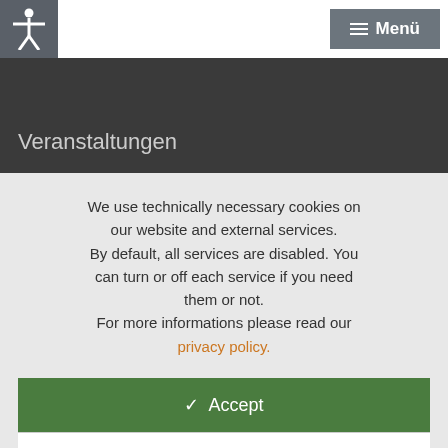[Figure (screenshot): Accessibility icon (person with arms outstretched) on dark grey background in top-left corner]
[Figure (screenshot): Menu button with three horizontal lines and label 'Menü' on grey background in top-right corner]
Veranstaltungen
We use technically necessary cookies on our website and external services. By default, all services are disabled. You can turn or off each service if you need them or not. For more informations please read our privacy policy.
✓  Accept
Customize
×  Reject